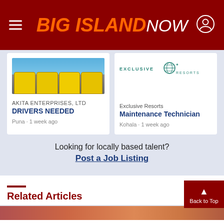BIG ISLAND NOW
[Figure (photo): School buses parked in a row, yellow buses seen from front/side in a parking lot with blue sky]
AKITA ENTERPRISES, LTD
DRIVERS NEEDED
Puna · 1 week ago
[Figure (logo): Exclusive Resorts logo with globe icon and text EXCLUSIVE RESORTS in teal green]
Exclusive Resorts
Maintenance Technician
Kohala · 1 week ago
Looking for locally based talent?
Post a Job Listing
Related Articles
[Figure (photo): Bottom strip showing a partially visible outdoor scene, red and orange tones]